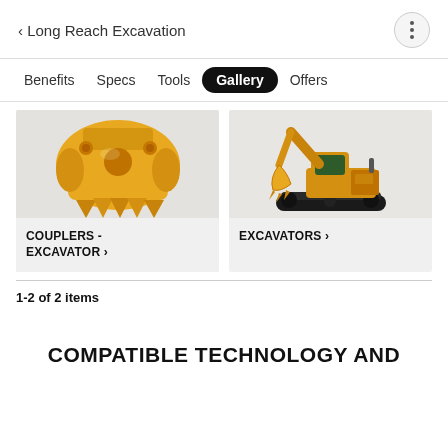< Long Reach Excavation
Benefits
Specs
Tools
Gallery (active)
Offers
[Figure (photo): Yellow excavator coupler attachment, close-up view from below]
COUPLERS - EXCAVATOR >
[Figure (photo): Yellow CAT excavator on tracks with long reach arm and bucket]
EXCAVATORS >
1-2 of 2 items
COMPATIBLE TECHNOLOGY AND